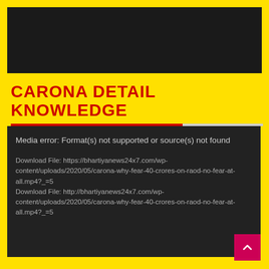[Figure (screenshot): Dark gray/black rectangular block at top of page, representing a media player or video area]
CARONA DETAIL KNOWLEDGE
Media error: Format(s) not supported or source(s) not found

Download File: https://bhartiyanews24x7.com/wp-content/uploads/2020/05/carona-why-fear-40-crores-on-raod-no-fear-at-all.mp4?_=5
Download File: http://bhartiyanews24x7.com/wp-content/uploads/2020/05/carona-why-fear-40-crores-on-raod-no-fear-at-all.mp4?_=5